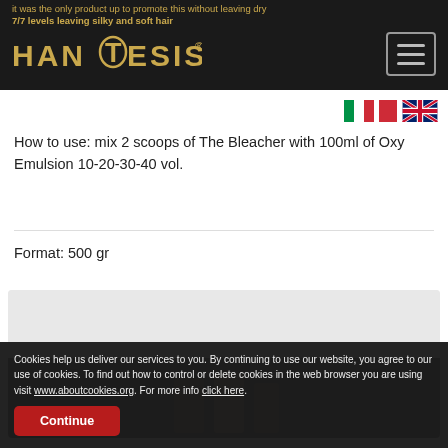HANTESIS
it was the only product up to promote this without leaving dry 7/7 levels leaving silky and soft hair
How to use: mix 2 scoops of The Bleacher with 100ml of Oxy Emulsion 10-20-30-40 vol.
Format: 500 gr
[Figure (photo): Product image area showing a hair bleacher product container on a dark background]
Cookies help us deliver our services to you. By continuing to use our website, you agree to our use of cookies. To find out how to control or delete cookies in the web browser you are using visit www.aboutcookies.org. For more info click here.
Continue